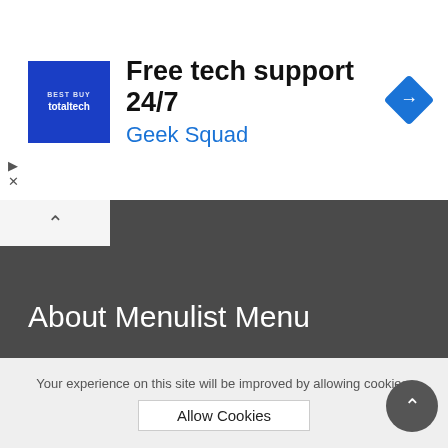[Figure (infographic): Advertisement banner for Best Buy Totaltech / Geek Squad showing blue square logo, text 'Free tech support 24/7' and 'Geek Squad', and a blue diamond navigation icon on the right]
About Menulist Menu
Menulist is the popular platform for Restaurants and their menus. Clean and comprehensive.
Imprint   About us
Your experience on this site will be improved by allowing cookies.
Allow Cookies